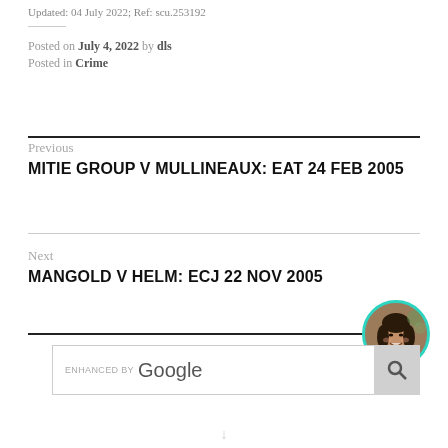Updated: 04 July 2022; Ref: scu.253192
Posted on July 4, 2022 by dls
Posted in Crime
Previous
MITIE GROUP V MULLINEAUX: EAT 24 FEB 2005
Next
MANGOLD V HELM: ECJ 22 NOV 2005
[Figure (photo): Circular avatar photo of a smiling woman with dark hair, with a teal/cyan circular border]
ENHANCED BY Google [search box with magnifying glass icon]